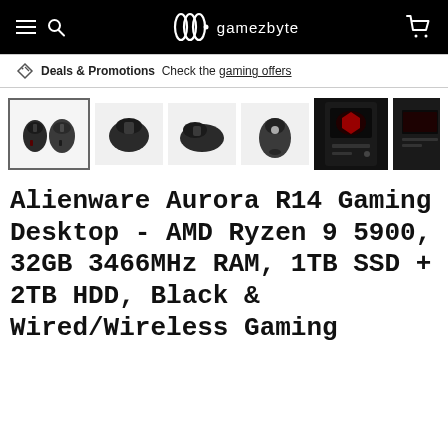gamezbyte
Deals & Promotions  Check the gaming offers
[Figure (photo): Product thumbnail gallery showing: (1) selected thumbnail with two gaming mice side by side, (2) single dark gaming mouse top view, (3) single dark gaming mouse side view, (4) gaming mouse with illuminated scroll wheel, (5) Alienware gaming desktop tower with red RGB lighting, (6) partial view of another gaming desktop tower]
Alienware Aurora R14 Gaming Desktop - AMD Ryzen 9 5900, 32GB 3466MHz RAM, 1TB SSD + 2TB HDD, Black & Wired/Wireless Gaming